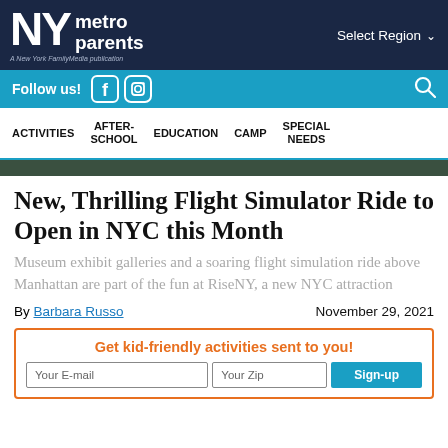NY metro parents — A New York FamilyMedia publication | Select Region
Follow us! [Facebook] [Instagram] [Search]
ACTIVITIES  AFTER-SCHOOL  EDUCATION  CAMP  SPECIAL NEEDS
New, Thrilling Flight Simulator Ride to Open in NYC this Month
Museum exhibit galleries and a soaring flight simulation ride above Manhattan are part of the fun at RiseNY, a new NYC attraction
By Barbara Russo    November 29, 2021
Get kid-friendly activities sent to you!
Your E-mail | Your Zip | Sign-up